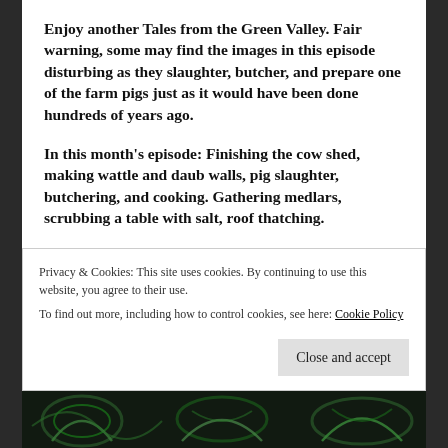Enjoy another Tales from the Green Valley. Fair warning, some may find the images in this episode disturbing as they slaughter, butcher, and prepare one of the farm pigs just as it would have been done hundreds of years ago.
In this month's episode: Finishing the cow shed, making wattle and daub walls, pig slaughter, butchering, and cooking. Gathering medlars, scrubbing a table with salt, roof thatching.
Privacy & Cookies: This site uses cookies. By continuing to use this website, you agree to their use.
To find out more, including how to control cookies, see here: Cookie Policy
[Figure (photo): Dark decorative image with green and black swirling patterns at the bottom of the page]